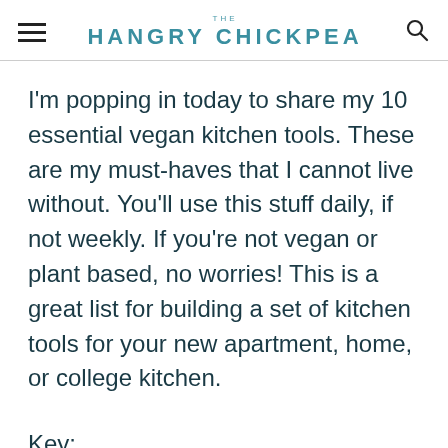THE HANGRY CHiCKPEA
I'm popping in today to share my 10 essential vegan kitchen tools. These are my must-haves that I cannot live without. You'll use this stuff daily, if not weekly. If you're not vegan or plant based, no worries! This is a great list for building a set of kitchen tools for your new apartment, home, or college kitchen.
Key: